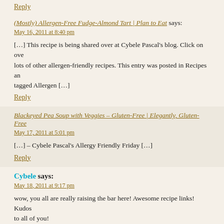Reply
(Mostly) Allergen-Free Fudge-Almond Tart | Plan to Eat says:
May 16, 2011 at 8:40 pm
[…] This recipe is being shared over at Cybele Pascal's blog. Click on over lots of other allergen-friendly recipes. This entry was posted in Recipes an tagged Allergen […]
Reply
Blackeyed Pea Soup with Veggies – Gluten-Free | Elegantly, Gluten-Free
May 17, 2011 at 5:01 pm
[…] – Cybele Pascal's Allergy Friendly Friday […]
Reply
Cybele says:
May 18, 2011 at 9:17 pm
wow, you all are really raising the bar here! Awesome recipe links! Kudos to all of you!
Reply
Sugar Free, Gluten Free, Anti-Candida, Vegan Raw Gingersnap Candy Re says: